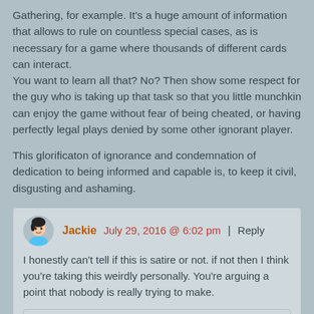Gathering, for example. It's a huge amount of information that allows to rule on countless special cases, as is necessary for a game where thousands of different cards can interact. You want to learn all that? No? Then show some respect for the guy who is taking up that task so that you little munchkin can enjoy the game without fear of being cheated, or having perfectly legal plays denied by some other ignorant player.
This glorificaton of ignorance and condemnation of dedication to being informed and capable is, to keep it civil, disgusting and ashaming.
Jackie   July 29, 2016 @ 6:02 pm | Reply
I honestly can't tell if this is satire or not. if not then I think you're taking this weirdly personally. You're arguing a point that nobody is really trying to make.
Purphoros   July 30, 2016 @ 2:26